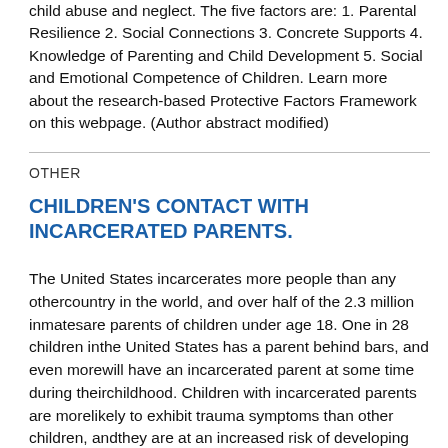child abuse and neglect. The five factors are: 1. Parental Resilience 2. Social Connections 3. Concrete Supports 4. Knowledge of Parenting and Child Development 5. Social and Emotional Competence of Children. Learn more about the research-based Protective Factors Framework on this webpage. (Author abstract modified)
OTHER
CHILDREN'S CONTACT WITH INCARCERATED PARENTS.
The United States incarcerates more people than any othercountry in the world, and over half of the 2.3 million inmatesare parents of children under age 18. One in 28 children inthe United States has a parent behind bars, and even morewill have an incarcerated parent at some time during theirchildhood. Children with incarcerated parents are morelikely to exhibit trauma symptoms than other children, andthey are at an increased risk of developing problematicoutcomes including behavior problems, substance